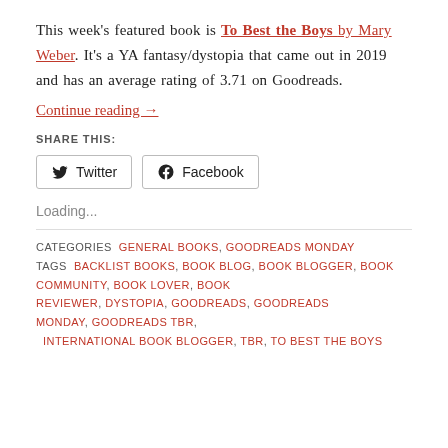This week's featured book is To Best the Boys by Mary Weber. It's a YA fantasy/dystopia that came out in 2019 and has an average rating of 3.71 on Goodreads.
Continue reading →
SHARE THIS:
Twitter   Facebook
Loading...
CATEGORIES  GENERAL BOOKS, GOODREADS MONDAY
TAGS  BACKLIST BOOKS, BOOK BLOG, BOOK BLOGGER, BOOK COMMUNITY, BOOK LOVER, BOOK REVIEWER, DYSTOPIA, GOODREADS, GOODREADS MONDAY, GOODREADS TBR, INTERNATIONAL BOOK BLOGGER, TBR, TO BEST THE BOYS